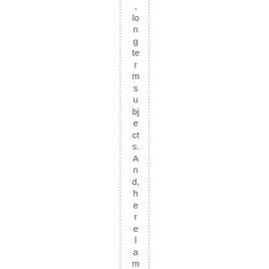,longtermsubjects. And,here l am,
b